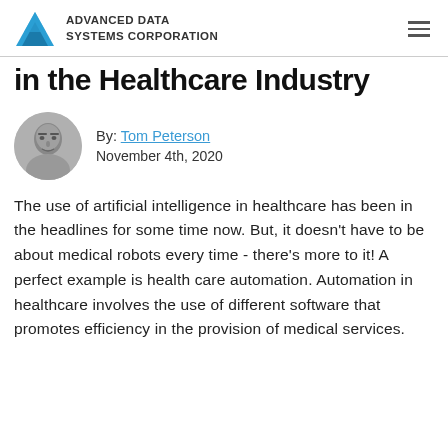ADVANCED DATA SYSTEMS CORPORATION
in the Healthcare Industry
By: Tom Peterson
November 4th, 2020
[Figure (photo): Circular author photo of Tom Peterson, a man, grayscale headshot]
The use of artificial intelligence in healthcare has been in the headlines for some time now. But, it doesn't have to be about medical robots every time - there's more to it! A perfect example is health care automation. Automation in healthcare involves the use of different software that promotes efficiency in the provision of medical services.